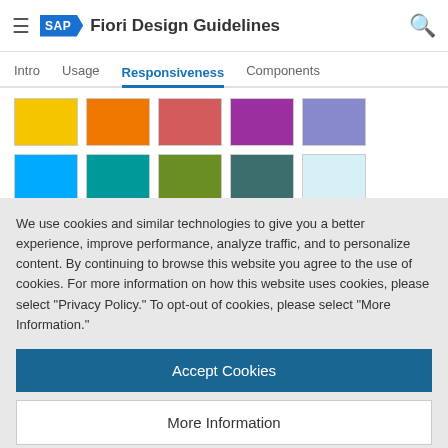SAP Fiori Design Guidelines
Intro  Usage  Responsiveness  Components
[Figure (illustration): Color swatches grid showing two rows: first row has yellow, orange, salmon/red, purple, lavender swatches; second row has blue, teal, olive green, dark teal, light blue swatches; third row has white, light gray, medium gray, dark gray, black swatches.]
We use cookies and similar technologies to give you a better experience, improve performance, analyze traffic, and to personalize content. By continuing to browse this website you agree to the use of cookies. For more information on how this website uses cookies, please select “Privacy Policy.” To opt-out of cookies, please select “More Information.”
Accept Cookies
More Information
Privacy Policy | Powered by: TrustArc